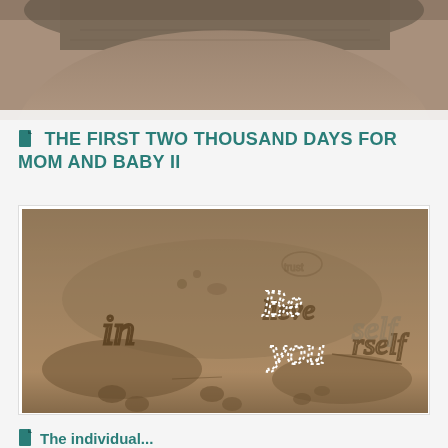[Figure (photo): Cropped photo showing a pregnant belly in a brown/grey fabric top, slightly blurred background]
THE FIRST TWO THOUSAND DAYS FOR MOM AND BABY II
[Figure (photo): Photo of sand on a beach with the words 'Believe in yourself' written in the sand — 'Be' and 'you' highlighted in white dotted letters, rest scratched into sand]
The individual...